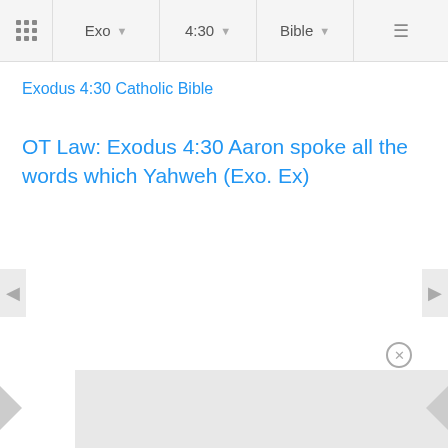Exo | 4:30 | Bible
Exodus 4:30 Catholic Bible
OT Law: Exodus 4:30 Aaron spoke all the words which Yahweh (Exo. Ex)